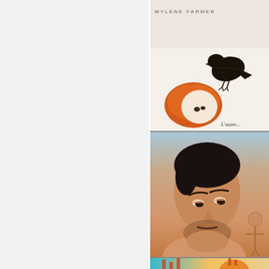[Figure (photo): Left panel: light gray/white blank area]
[Figure (photo): Album cover: MYLÈNE FARMER 'L'autre...' showing a woman with short red/orange hair lying down with a black bird (crow/raven) perched on her head, white/light background]
[Figure (photo): Photo of a shirtless dark-haired man with beard looking downward, with tattooed figure partially visible at right, warm skin-tone background]
[Figure (photo): Partial view of a colorful illustration/cover with cyan background and orange/yellow circular shape with bar-chart like elements, partially cut off at bottom]